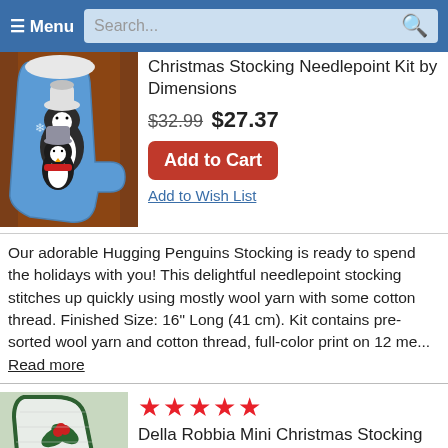Menu | Search...
Christmas Stocking Needlepoint Kit by Dimensions
$32.99 $27.37
Add to Cart
Add to Wish List
Our adorable Hugging Penguins Stocking is ready to spend the holidays with you! This delightful needlepoint stocking stitches up quickly using mostly wool yarn with some cotton thread. Finished Size: 16" Long (41 cm). Kit contains pre-sorted wool yarn and cotton thread, full-color print on 12 me... Read more
[Figure (photo): A blue Christmas stocking featuring two hugging penguins, one wearing a white hat and one wearing a grey hat with a red scarf, hanging on a dark wooden door]
★★★★★
Della Robbia Mini Christmas Stocking Needlepoint Kit by Alice Peterson
[Figure (photo): A decorative mini Christmas stocking with green and white needlepoint design featuring holly and berries]